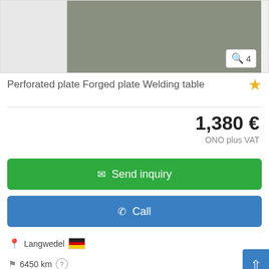[Figure (photo): Partial product image showing a gray metal surface, with a zoom indicator showing '4' images]
Perforated plate Forged plate Welding table
1,380 €
ONO plus VAT
Send inquiry
Call
Langwedel
6450 km
ready for operation (used)
Save search query
Perforated p... dimensions 1500x1500mm Working height 940mm -height